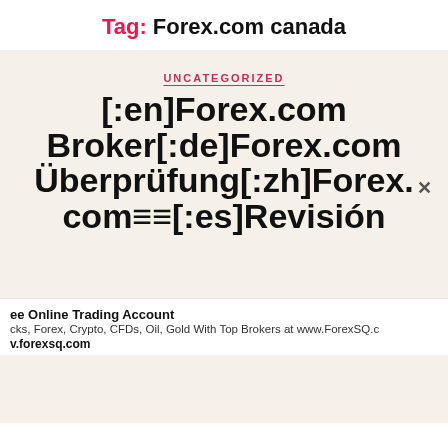Tag: Forex.com canada
UNCATEGORIZED
[:en]Forex.com Broker[:de]Forex.com Überprüfung[:zh]Forex.com≡≡[:es]Revisión
ee Online Trading Account
cks, Forex, Crypto, CFDs, Oil, Gold With Top Brokers at www.ForexSQ.c
v.forexsq.com